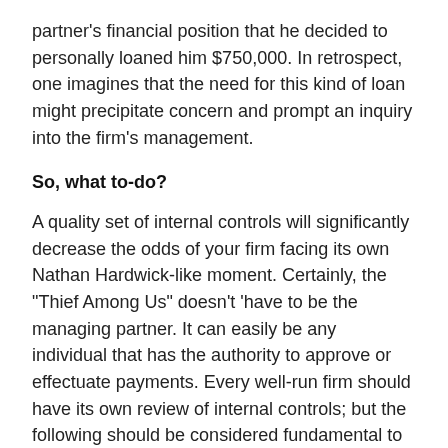partner's financial position that he decided to personally loaned him $750,000. In retrospect, one imagines that the need for this kind of loan might precipitate concern and prompt an inquiry into the firm's management.
So, what to-do?
A quality set of internal controls will significantly decrease the odds of your firm facing its own Nathan Hardwick-like moment. Certainly, the "Thief Among Us" doesn't 'have to be the managing partner. It can easily be any individual that has the authority to approve or effectuate payments. Every well-run firm should have its own review of internal controls; but the following should be considered fundamental to any law firm.
Segregation of duties